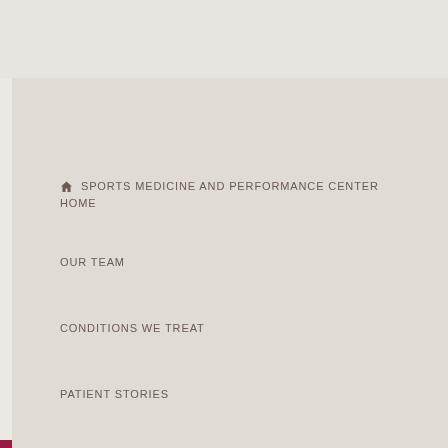🏠 SPORTS MEDICINE AND PERFORMANCE CENTER HOME
OUR TEAM
CONDITIONS WE TREAT
PATIENT STORIES
RESOURCES
OUR RESEARCH